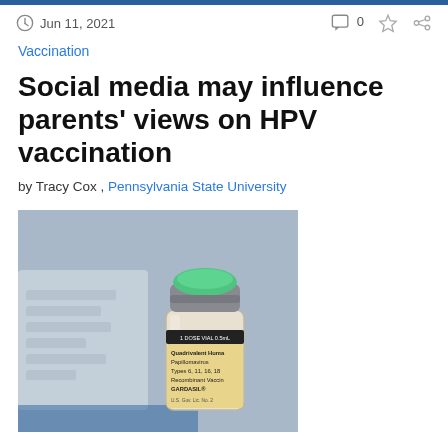Jun 11, 2021
Vaccination
Social media may influence parents' views on HPV vaccination
by Tracy Cox , Pennsylvania State University
[Figure (photo): Close-up photo of a Gardasil HPV vaccine vial labeled '1 DOSE VIAL 0.5mL, Quadrivalent Human Papillomavirus Types 6, 11, 16, 18 Recombinant Vaccine, GARDASIL®, U.S. Gov. Lic. No. 2' with a green and grey cap, sitting on a grey surface with a blurred package in the background.]